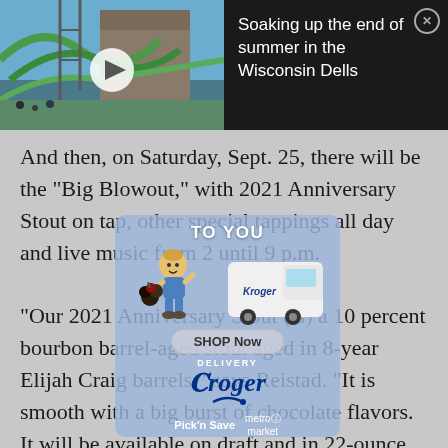[Figure (screenshot): Video thumbnail showing a water park with slides and a lodge building, with a white play button overlay]
Soaking up the end of summer in the Wisconsin Dells
And then, on Saturday, Sept. 25, there will be the "Big Blowout," with 2021 Anniversary Stout on tap, other special tappings all day and live music from 2 until 9 p.m.
[Figure (infographic): Kroger Delivery advertisement overlay with mascot character pushing cart, delivery van, Shop Now button, Pick 'n Save and metro market branding]
"Our 2021 Anniversary Stout (is) a 10 percent bourbon barrel-aged stout aged in 8-year Elijah Craig barrels," says Reistad. "It is smooth with a big burst of chocolate flavors. It will be available on draft and in 22-ounce bombers starting at 10 a.m."